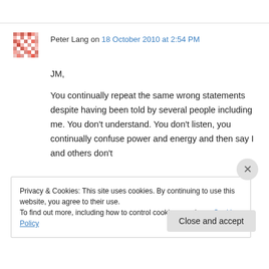Peter Lang on 18 October 2010 at 2:54 PM
JM,

You continually repeat the same wrong statements despite having been told by several people including me. You don't understand. You don't listen, you continually confuse power and energy and then say I and others don't
Privacy & Cookies: This site uses cookies. By continuing to use this website, you agree to their use.
To find out more, including how to control cookies, see here: Cookie Policy
Close and accept